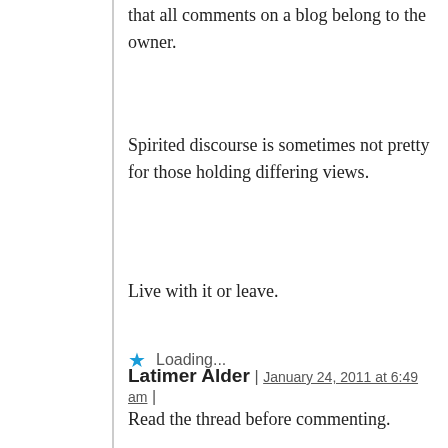that all comments on a blog belong to the owner.
Spirited discourse is sometimes not pretty for those holding differing views.
Live with it or leave.
★ Loading...
Latimer Alder | January 24, 2011 at 6:49 am |
Read the thread before commenting.
Judith struck those lines out to show that she personally